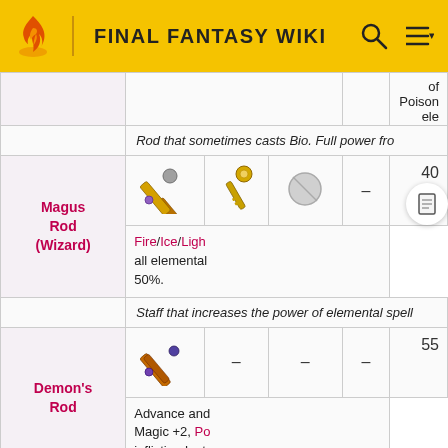FINAL FANTASY WIKI
| Name | Image | Image2 | Image3 | Dash | Number | Properties |
| --- | --- | --- | --- | --- | --- | --- |
|  |  |  |  |  |  | of Poison ele |
|  | Rod that sometimes casts Bio. Full power fro |  |  |  |  |  |
| Magus Rod (Wizard) | [icon] | [icon] | [icon] | – | 40 | Fire/Ice/Ligh... all elemental 50%. |
|  | Staff that increases the power of elemental spell. |  |  |  |  |  |
| Demon's Rod | [icon] |  |  | – | 55 | Advance and Magic +2, Po inflicting Inst |
|  |  |  |  |  |  |  |